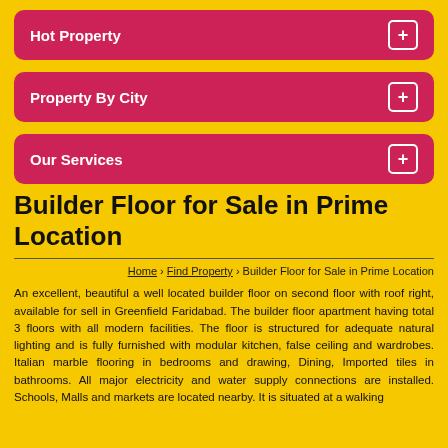Hot Property
Property By City
Our Services
Builder Floor for Sale in Prime Location
Home › Find Property › Builder Floor for Sale in Prime Location
An excellent, beautiful a well located builder floor on second floor with roof right, available for sell in Greenfield Faridabad. The builder floor apartment having total 3 floors with all modern facilities. The floor is structured for adequate natural lighting and is fully furnished with modular kitchen, false ceiling and wardrobes. Italian marble flooring in bedrooms and drawing, Dining, Imported tiles in bathrooms. All major electricity and water supply connections are installed. Schools, Malls and markets are located nearby. It is situated at a walking